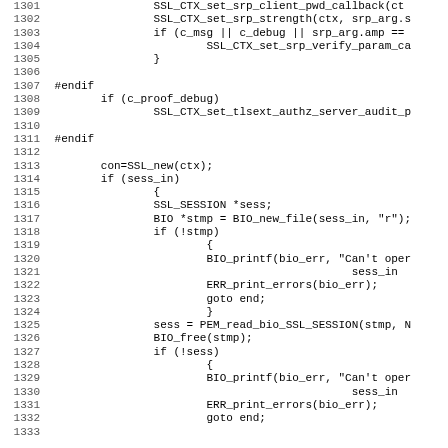Source code listing lines 1301-1332, C/OpenSSL code showing SSL context setup and session handling